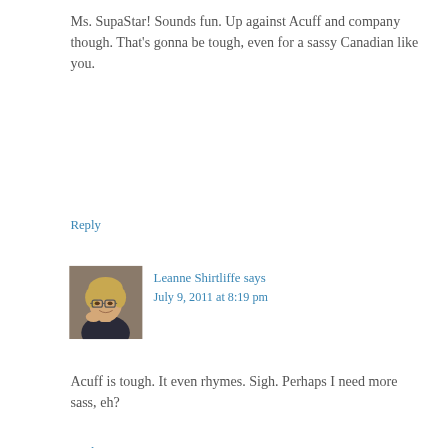Ms. SupaStar! Sounds fun. Up against Acuff and company though. That’s gonna be tough, even for a sassy Canadian like you.
Reply
[Figure (photo): Avatar photo of Leanne Shirtliffe, a woman with short blonde hair and glasses]
Leanne Shirtliffe says
July 9, 2011 at 8:19 pm
Acuff is tough. It even rhymes. Sigh. Perhaps I need more sass, eh?
Reply